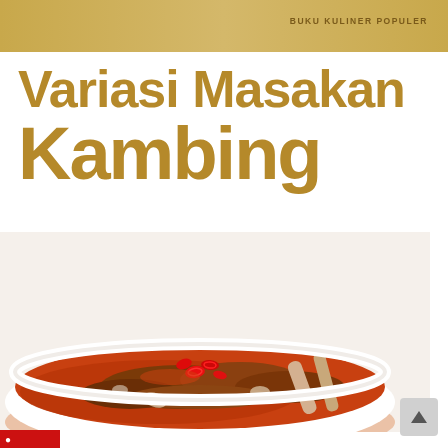BUKU KULINER POPULER
Variasi Masakan Kambing
[Figure (photo): A white bowl filled with Indonesian goat meat curry (kambing) in a rich reddish-brown sauce, garnished with sliced red chili peppers, photographed from above at an angle on a white background.]